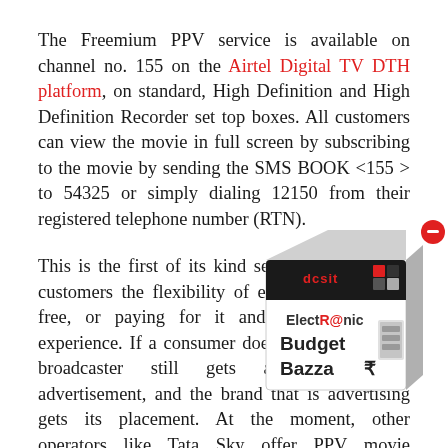The Freemium PPV service is available on channel no. 155 on the Airtel Digital TV DTH platform, on standard, High Definition and High Definition Recorder set top boxes. All customers can view the movie in full screen by subscribing to the movie by sending the SMS BOOK <155 > to 54325 or simply dialing 12150 from their registered telephone number (RTN).
This is the first of its kind service, which gives customers the flexibility of either viewing the movie for free, or paying for it and getting an ad free experience. If a consumer does watch it for free, the broadcaster still gets a revenue through the advertisement, and the brand that is advertising gets its placement. At the moment, other operators like Tata Sky offer PPV movie channels, where you pay
[Figure (illustration): ElectRonic Budget Bazza advertisement box overlay on the bottom-right corner of the page showing a 3D product box with red and black branding.]